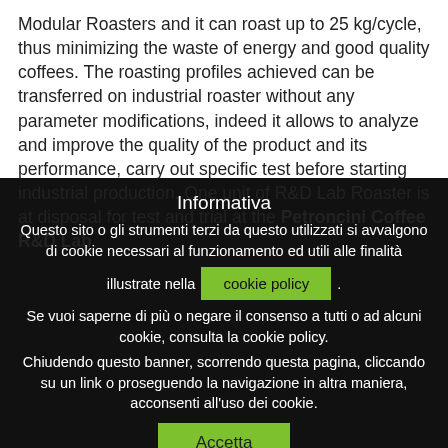Modular Roasters and it can roast up to 25 kg/cycle, thus minimizing the waste of energy and good quality coffees. The roasting profiles achieved can be transferred on industrial roaster without any parameter modifications, indeed it allows to analyze and improve the quality of the product and its performance, carry out specific test before starting industrial production. One unit of R&D Lab Roaster is at disposal for test and trial at the Petroncini Coffee R&D Lab,
Informativa
Questo sito o gli strumenti terzi da questo utilizzati si avvalgono di cookie necessari al funzionamento ed utili alle finalità illustrate nella cookie policy.
Se vuoi saperne di più o negare il consenso a tutti o ad alcuni cookie, consulta la cookie policy.
Chiudendo questo banner, scorrendo questa pagina, cliccando su un link o proseguendo la navigazione in altra maniera, acconsenti all'uso dei cookie.
Accetta